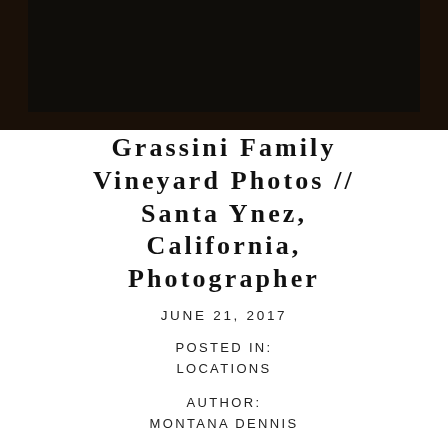[Figure (photo): Dark photograph banner at top of page showing a dimly lit scene, nearly black]
Grassini Family Vineyard Photos // Santa Ynez, California, Photographer
JUNE 21, 2017
POSTED IN:
LOCATIONS
AUTHOR:
MONTANA DENNIS